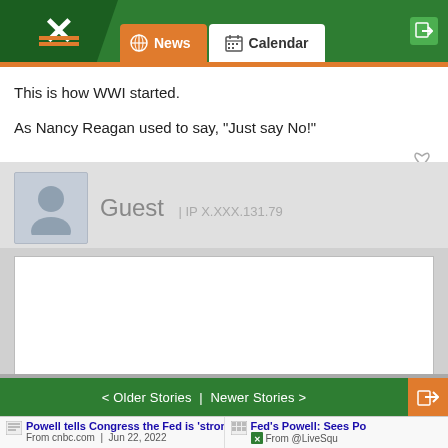News | Calendar
This is how WWI started.

As Nancy Reagan used to say, "Just say No!"
Guest | IP X.XXX.131.79
[Figure (screenshot): Comment reply form with empty textarea, Join EE link, Post Comment button, and sort icon]
< Older Stories | Newer Stories >
Powell tells Congress the Fed is 'strongly co... | From cnbc.com | Jun 22, 2022
Fed's Powell: Sees Po... | From @LiveSqu...